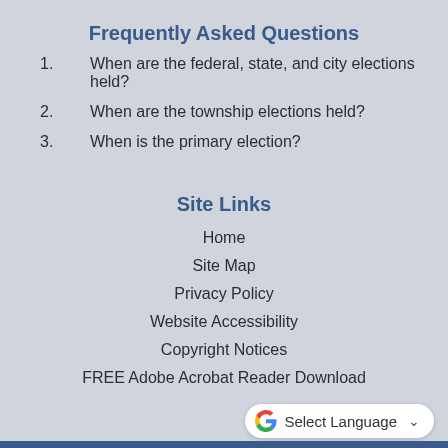Frequently Asked Questions
1. When are the federal, state, and city elections held?
2. When are the township elections held?
3. When is the primary election?
Site Links
Home
Site Map
Privacy Policy
Website Accessibility
Copyright Notices
FREE Adobe Acrobat Reader Download